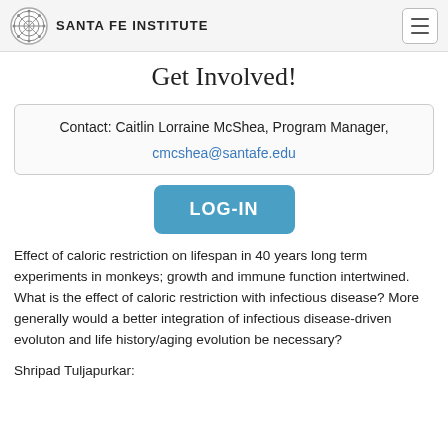SANTA FE INSTITUTE
Get Involved!
Contact: Caitlin Lorraine McShea, Program Manager, cmcshea@santafe.edu
[Figure (other): LOG-IN button]
Effect of caloric restriction on lifespan in 40 years long term experiments in monkeys; growth and immune function intertwined. What is the effect of caloric restriction with infectious disease? More generally would a better integration of infectious disease-driven evoluton and life history/aging evolution be necessary?
Shripad Tuljapurkar: